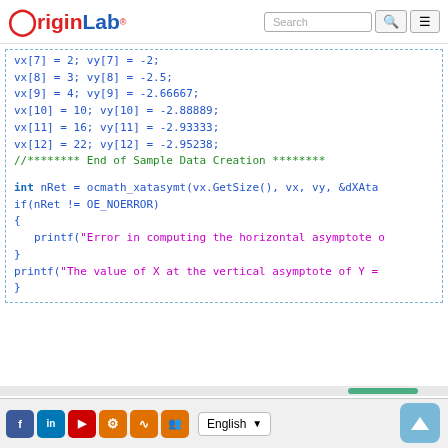OriginLab - Search
vx[7] = 2;    vy[7] = -2;
vx[8] = 3;    vy[8] = -2.5;
vx[9] = 4;    vy[9] = -2.66667;
vx[10] = 10;  vy[10] = -2.88889;
vx[11] = 16;  vy[11] = -2.93333;
vx[12] = 22;  vy[12] = -2.95238;
//******** End of Sample Data Creation ********

int nRet = ocmath_xatasymt(vx.GetSize(), vx, vy, &dXAta...
if(nRet != OE_NOERROR)
{
    printf("Error in computing the horizontal asymptote o...
}
printf("The value of X at the vertical asymptote of Y =...
}
English | Social icons | Up button